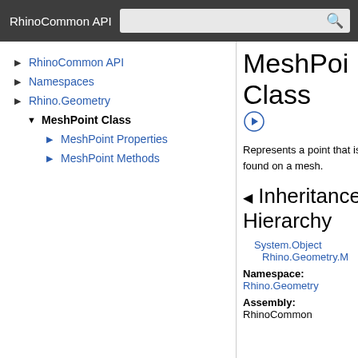RhinoCommon API
RhinoCommon API
Namespaces
Rhino.Geometry
MeshPoint Class
MeshPoint Properties
MeshPoint Methods
MeshPoint Class
Represents a point that is found on a mesh.
Inheritance Hierarchy
System.Object
Rhino.Geometry.M
Namespace: Rhino.Geometry
Assembly: RhinoCommon